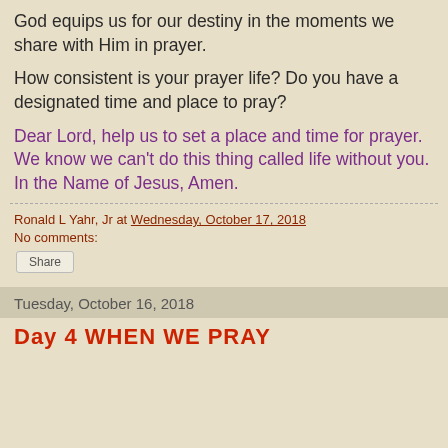God equips us for our destiny in the moments we share with Him in prayer.
How consistent is your prayer life? Do you have a designated time and place to pray?
Dear Lord, help us to set a place and time for prayer. We know we can't do this thing called life without you. In the Name of Jesus, Amen.
Ronald L Yahr, Jr at Wednesday, October 17, 2018
No comments:
Share
Tuesday, October 16, 2018
Day 4 WHEN WE PRAY